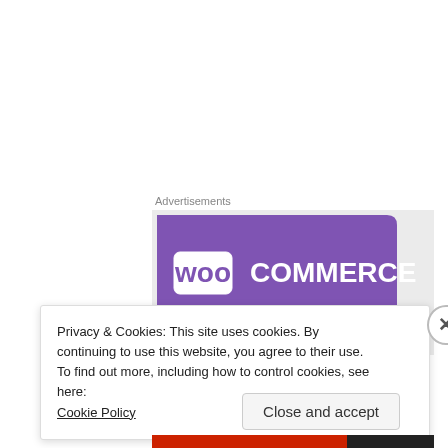Advertisements
[Figure (logo): WooCommerce logo on purple speech-bubble banner with light grey background]
Privacy & Cookies: This site uses cookies. By continuing to use this website, you agree to their use.
To find out more, including how to control cookies, see here:
Cookie Policy
Close and accept